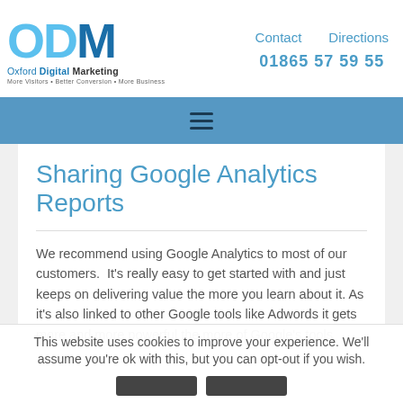[Figure (logo): Oxford Digital Marketing logo with blue ODM letters and tagline 'More Visitors • Better Conversion • More Business']
Contact   Directions   01865 57 59 55
[Figure (other): Blue navigation bar with hamburger menu icon]
Sharing Google Analytics Reports
We recommend using Google Analytics to most of our customers.  It's really easy to get started with and just keeps on delivering value the more you learn about it. As it's also linked to other Google tools like Adwords it gets more and more powerful the more of Google's tools
This website uses cookies to improve your experience. We'll assume you're ok with this, but you can opt-out if you wish.